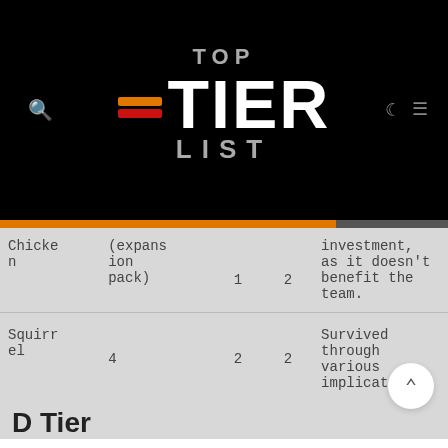[Figure (logo): Top Tier List website logo on black background with orange and red dashes]
| Name | Type | Col1 | Col2 | Description |
| --- | --- | --- | --- | --- |
| Chicken | (expansion pack) | 1 | 2 | investment, as it doesn't benefit the team. |
| Squirrel | 4 | 2 | 2 | Survived through various implications |
D Tier